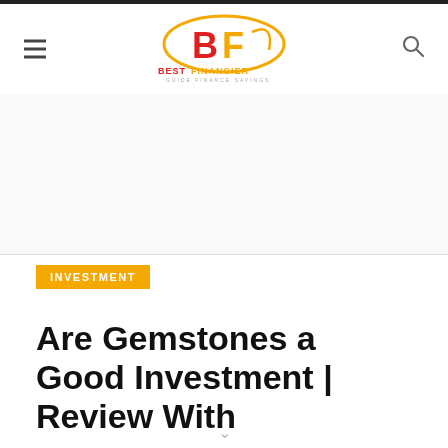[Figure (logo): Best Financier logo with red and yellow BF emblem and wordmark BEST FINANCIER with tagline GUIDE FINANCE SAVINGS]
INVESTMENT
Are Gemstones a Good Investment | Review With